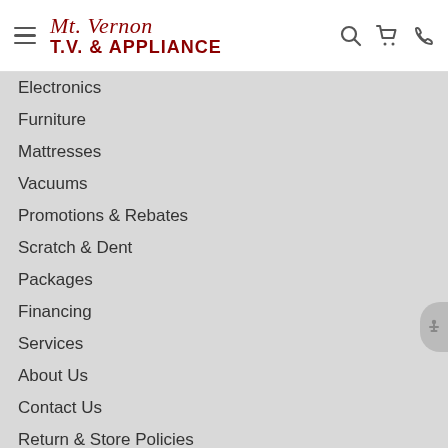Mt. Vernon T.V. & Appliance
Electronics
Furniture
Mattresses
Vacuums
Promotions & Rebates
Scratch & Dent
Packages
Financing
Services
About Us
Contact Us
Return & Store Policies
Location